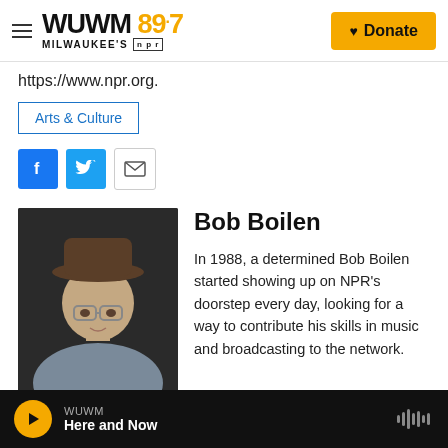WUWM 89.7 MILWAUKEE'S NPR — Donate
https://www.npr.org.
Arts & Culture
[Figure (other): Social sharing buttons: Facebook, Twitter, Email]
[Figure (photo): Black and white portrait photo of Bob Boilen wearing a hat and glasses]
Bob Boilen
In 1988, a determined Bob Boilen started showing up on NPR's doorstep every day, looking for a way to contribute his skills in music and broadcasting to the network.
WUWM — Here and Now (audio player bar)